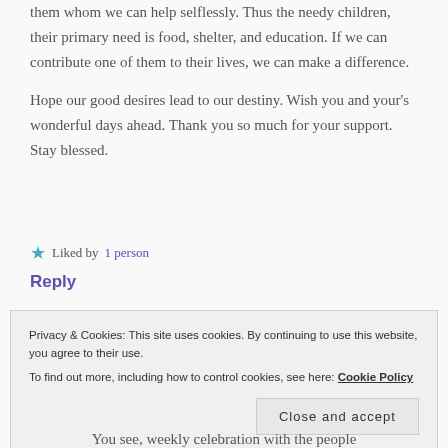them whom we can help selflessly. Thus the needy children, their primary need is food, shelter, and education. If we can contribute one of them to their lives, we can make a difference.
Hope our good desires lead to our destiny. Wish you and your's wonderful days ahead. Thank you so much for your support. Stay blessed.
★ Liked by 1 person
Reply
Privacy & Cookies: This site uses cookies. By continuing to use this website, you agree to their use.
To find out more, including how to control cookies, see here: Cookie Policy
Close and accept
You see, weekly celebration with the people